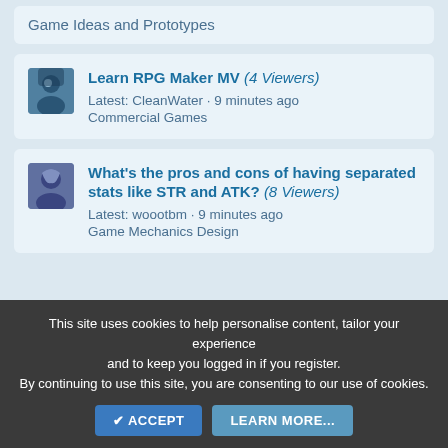Game Ideas and Prototypes
Learn RPG Maker MV (4 Viewers)
Latest: CleanWater · 9 minutes ago
Commercial Games
What's the pros and cons of having separated stats like STR and ATK? (8 Viewers)
Latest: woootbm · 9 minutes ago
Game Mechanics Design
Latest Profile Posts
Poryg
This site uses cookies to help personalise content, tailor your experience and to keep you logged in if you register.
By continuing to use this site, you are consenting to our use of cookies.